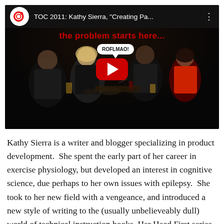[Figure (screenshot): YouTube video thumbnail for 'TOC 2011: Kathy Sierra, Creating Pa...' showing four people dining at a restaurant table. A red play button is overlaid. Text on the video reads 'the problem starts here...' in red, and a speech bubble says 'ROFLMAO!'. The YouTube logo and video title appear in the top bar.]
Kathy Sierra is a writer and blogger specializing in product development.  She spent the early part of her career in exercise physiology, but developed an interest in cognitive science, due perhaps to her own issues with epilepsy.  She took to her new field with a vengeance, and introduced a new style of writing to the (usually unbelieveably dull) world of technical instruction books. Her Head First series, a popular line in computer...